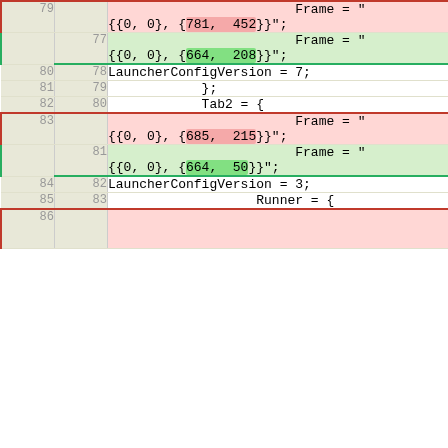| old line | new line | code |
| --- | --- | --- |
| 79 |  | Frame = "{{0, 0}, {781, 452}}"; |
|  | 77 | Frame = "{{0, 0}, {664, 208}}"; |
| 80 | 78 | LauncherConfigVersion = 7; |
| 81 | 79 | }; |
| 82 | 80 | Tab2 = { |
| 83 |  | Frame = "{{0, 0}, {685, 215}}"; |
|  | 81 | Frame = "{{0, 0}, {664, 50}}"; |
| 84 | 82 | LauncherConfigVersion = 3; |
| 85 | 83 | Runner = { |
| 86 |  |  |